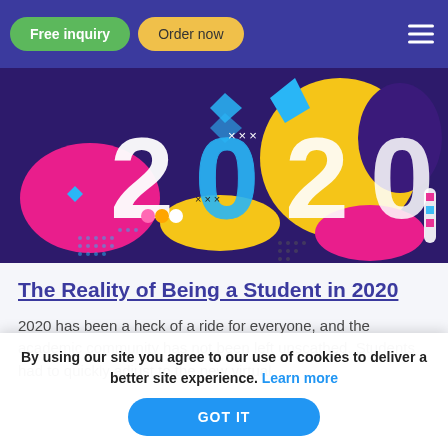Free inquiry | Order now
[Figure (illustration): Colorful 2020 graphic with bold stylized numbers on a vibrant purple, pink, yellow and blue abstract background with geometric shapes and decorative elements]
The Reality of Being a Student in 2020
2020 has been a heck of a ride for everyone, and the academic community has not been left unscathed. Students had to quickly adjust to the new virtual
By using our site you agree to our use of cookies to deliver a better site experience. Learn more
GOT IT